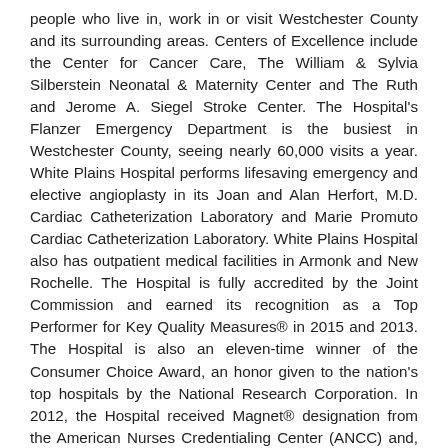people who live in, work in or visit Westchester County and its surrounding areas. Centers of Excellence include the Center for Cancer Care, The William & Sylvia Silberstein Neonatal & Maternity Center and The Ruth and Jerome A. Siegel Stroke Center. The Hospital's Flanzer Emergency Department is the busiest in Westchester County, seeing nearly 60,000 visits a year. White Plains Hospital performs lifesaving emergency and elective angioplasty in its Joan and Alan Herfort, M.D. Cardiac Catheterization Laboratory and Marie Promuto Cardiac Catheterization Laboratory. White Plains Hospital also has outpatient medical facilities in Armonk and New Rochelle. The Hospital is fully accredited by the Joint Commission and earned its recognition as a Top Performer for Key Quality Measures® in 2015 and 2013. The Hospital is also an eleven-time winner of the Consumer Choice Award, an honor given to the nation's top hospitals by the National Research Corporation. In 2012, the Hospital received Magnet® designation from the American Nurses Credentialing Center (ANCC) and, in 2016, earned re-designation as a Magnet hospital. In 2014 and 2016, White Plains Hospital received the Outstanding Patient Experience Award from Healthgrades given to only 10% of hospitals nationwide. For additional